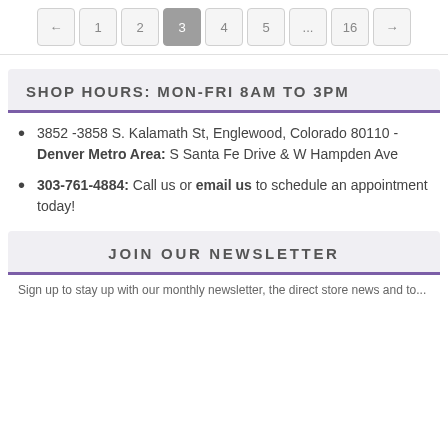← 1 2 3 4 5 ... 16 →
SHOP HOURS: MON-FRI 8AM TO 3PM
3852 -3858 S. Kalamath St, Englewood, Colorado 80110 - Denver Metro Area: S Santa Fe Drive & W Hampden Ave
303-761-4884: Call us or email us to schedule an appointment today!
JOIN OUR NEWSLETTER
Sign up to stay up with our monthly newsletter, the direct store news and to...